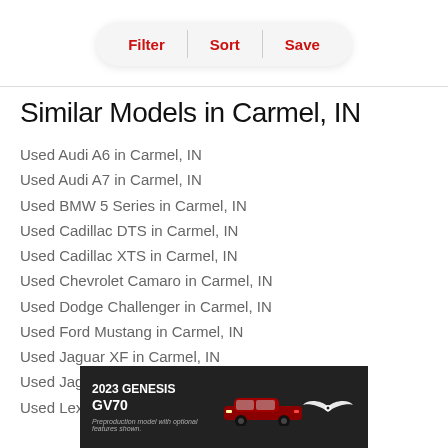Filter | Sort | Save
Similar Models in Carmel, IN
Used Audi A6 in Carmel, IN
Used Audi A7 in Carmel, IN
Used BMW 5 Series in Carmel, IN
Used Cadillac DTS in Carmel, IN
Used Cadillac XTS in Carmel, IN
Used Chevrolet Camaro in Carmel, IN
Used Dodge Challenger in Carmel, IN
Used Ford Mustang in Carmel, IN
Used Jaguar XF in Carmel, IN
Used Jaguar XJL in Carmel, IN
Used Lexus GS 350 in Carmel, IN
[Figure (photo): 2023 Genesis GV70 advertisement banner with red SUV and Genesis wing logo. Text: 2023 GENESIS GV70 Preproduction model with optional features shown.]